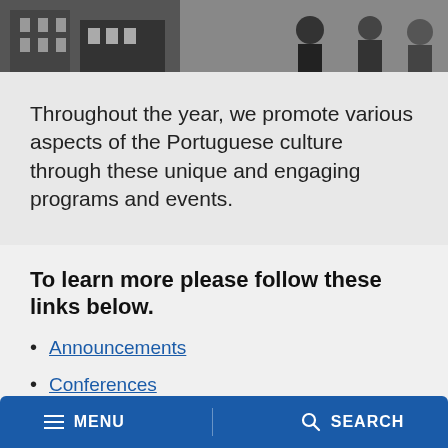[Figure (photo): Black and white photograph strip showing buildings and people outdoors]
Throughout the year, we promote various aspects of the Portuguese culture through these unique and engaging programs and events.
To learn more please follow these links below.
Announcements
Conferences
Distinguished Writer Series
Lectu[res]